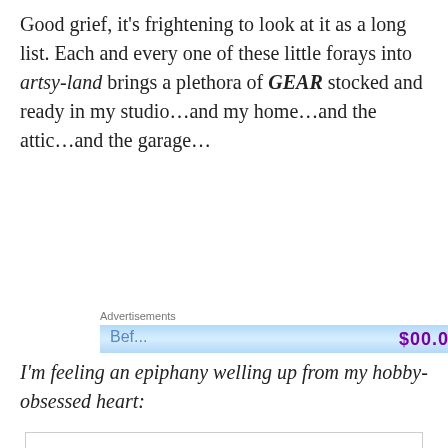Good grief, it's frightening to look at it as a long list. Each and every one of these little forays into artsy-land brings a plethora of GEAR stocked and ready in my studio…and my home…and the attic…and the garage…
[Figure (other): Advertisement banner with blue gradient background showing a price tag with dollar signs and purple text '$00.00']
I'm feeling an epiphany welling up from my hobby-obsessed heart:
Privacy & Cookies: This site uses cookies. By continuing to use this website, you agree to their use.
To find out more, including how to control cookies, see here: Cookie Policy